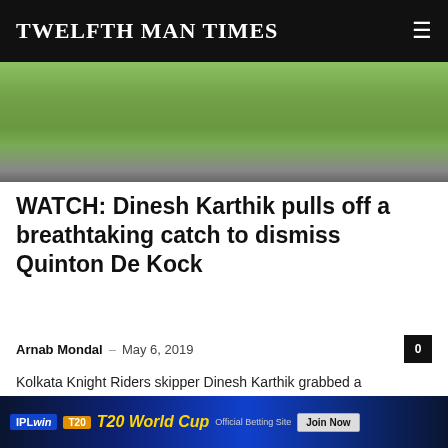TWELFTH MAN TIMES
[Figure (photo): Green cricket field aerial view]
WATCH: Dinesh Karthik pulls off a breathtaking catch to dismiss Quinton De Kock
Arnab Mondal – May 6, 2019
Kolkata Knight Riders skipper Dinesh Karthik grabbed a breathtaking running catch to dismiss Quinton De Kock during the match against Mumbai Indians at the...
WATCH: Jason Roy's sensational fielding denies Mohammad Hafeez a certain boundary
[Figure (photo): T20 World Cup IPLwin betting advertisement banner]